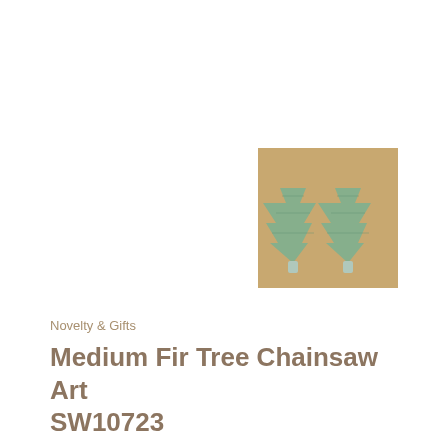[Figure (photo): Two small mint/sage green chainsaw-carved fir tree figurines on a wooden surface, thumbnail product image]
Novelty & Gifts
Medium Fir Tree Chainsaw Art SW10723
SW10723
$139.00